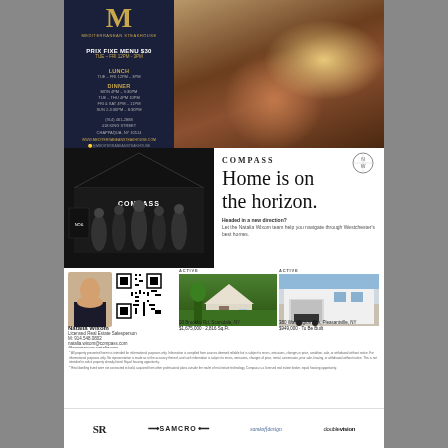[Figure (photo): Mediterranean Steakhouse advertisement with dark navy left panel showing logo, menu info, hours and contact details, and food photography on the right]
[Figure (photo): Compass real estate advertisement showing team photo on left and branding/tagline on right]
Home is on the horizon.
Headed in a new direction? Let the Natalia Wixom team help you navigate through Westchester's best homes.
[Figure (photo): Agent photo of Natalia Wixom and QR code]
Natalia Wixom
Licensed Real Estate Salesperson
M: 914.548.0802
natalia.wixom@compass.com
@compassny.nataliaxom
[Figure (photo): ACTIVE listing: 28 Brookby Rd, Scarsdale NY - house with green lawn]
28 Brookby Rd, Scarsdale, NY
$1,675,000 · 2,816 Sq.Ft.
[Figure (photo): ACTIVE listing: 380 Washington Ave, Pleasantville NY - modern white house]
380 Washington Ave, Pleasantville, NY
$949,000 · To Be Built
All property presented herein is intended for informational purposes only. Information is compiled from sources deemed reliable but is subject to errors, omissions, changes in price, condition, sale, or withdrawal without notice. For informational purposes only...
[Figure (logo): SR logo]
[Figure (logo): SAMCRO logo with wings]
[Figure (logo): samkoffdesign logo]
[Figure (logo): doublevision logo]